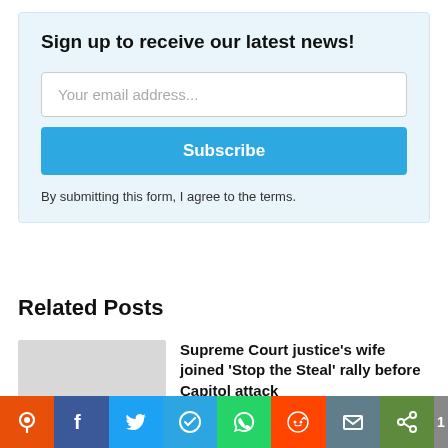Sign up to receive our latest news!
Your email address...
Subscribe
By submitting this form, I agree to the terms.
Related Posts
Supreme Court justice’s wife joined ‘Stop the Steal’ rally before Capitol attack
D.C. | 03/15/22, 16:08
[Figure (infographic): Social share bar with icons for various platforms: orange pin/geotag, Facebook, Twitter, Telegram, WhatsApp, Reddit, email, and share.]